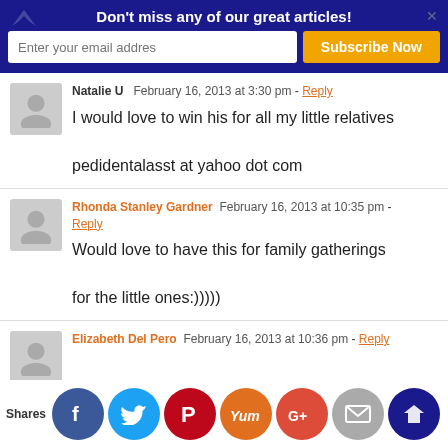Don't miss any of our great articles! [email subscription banner]
Natalie U  February 16, 2013 at 3:30 pm - Reply

I would love to win his for all my little relatives

pedidentalasst at yahoo dot com
Rhonda Stanley Gardner  February 16, 2013 at 10:35 pm - Reply

Would love to have this for family gatherings

for the little ones:)))))
Elizabeth Del Pero  February 16, 2013 at 10:36 pm - Reply
Shares [Facebook] [Twitter] [Pinterest] [Yummly] [Google+] [Email] [Crown]